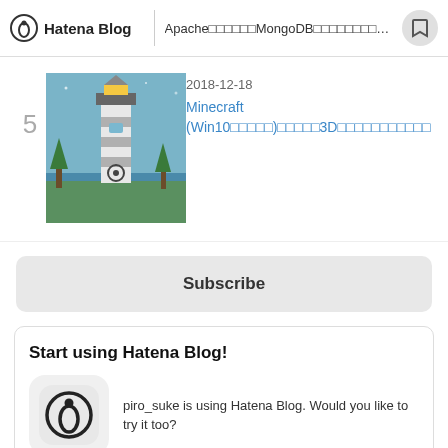Hatena Blog | Apache□□□□□□□MongoDB□□□□□□□□□□□□□□...
5
[Figure (photo): Thumbnail image of a Minecraft lighthouse scene]
2018-12-18
Minecraft (Win10□□□□□□)□□□□□□□3D□□□□□□□□□□□□□□□□
Subscribe
Start using Hatena Blog!
[Figure (logo): Hatena Blog app icon — pen nib in a circle]
piro_suke is using Hatena Blog. Would you like to try it too?
Start using Hatena Blog (Free)
What is Hatena Blog?